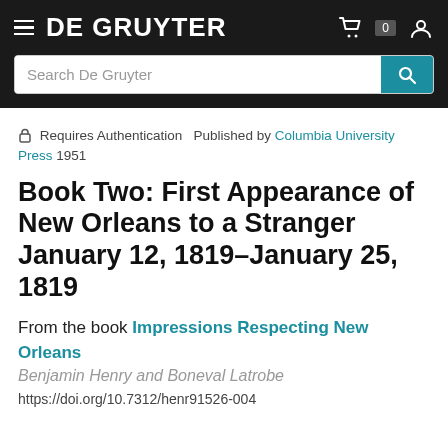DE GRUYTER
🔒 Requires Authentication  Published by Columbia University Press 1951
Book Two: First Appearance of New Orleans to a Stranger January 12, 1819–January 25, 1819
From the book Impressions Respecting New Orleans
Benjamin Henry and Boneval Latrobe
https://doi.org/10.7312/henr91526-004